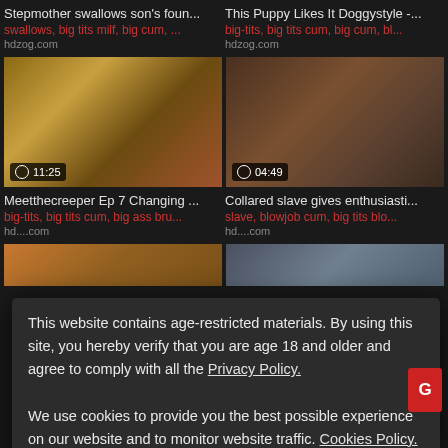Stepmother swallows son's foun...
This Puppy Likes It Doggystyle -...
swallows, big tits milf, big cum, ...
big-tits, big tits cum, big cum, bl...
hdzog.com
hdzog.com
[Figure (screenshot): Video thumbnail with duration 11:25]
[Figure (screenshot): Video thumbnail with duration 04:49]
Meetthecreeper Ep 7 Changing ...
Collared slave gives enthusiasti...
big-tits, big tits cum, big ass bru...
slave, blowjob cum, big tits blo...
hdz... .com
hdz... .com
This website contains age-restricted materials. By using this site, you hereby verify that you are age 18 and older and agree to comply with all the Privacy Policy.
We use cookies to provide you the best possible experience on our website and to monitor website traffic. Cookies Policy.